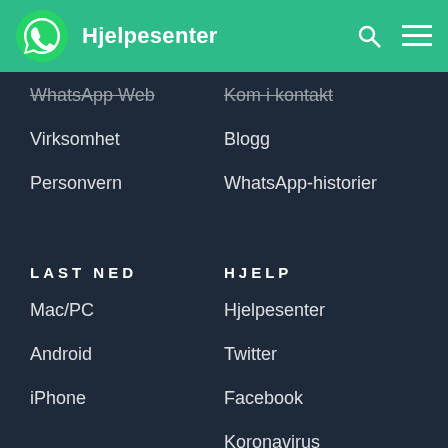Hjelpesenter
WhatsApp Web
Kom i kontakt
Virksomhet
Blogg
Personvern
WhatsApp-historier
LAST NED
HJELP
Mac/PC
Hjelpesenter
Android
Twitter
iPhone
Facebook
Koronavirus